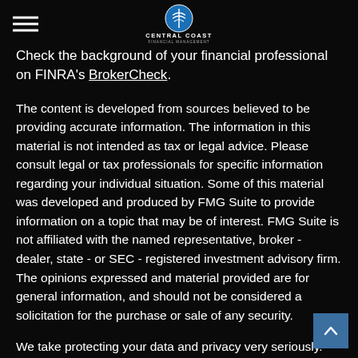Central Coast Financial Management
Check the background of your financial professional on FINRA's BrokerCheck.
The content is developed from sources believed to be providing accurate information. The information in this material is not intended as tax or legal advice. Please consult legal or tax professionals for specific information regarding your individual situation. Some of this material was developed and produced by FMG Suite to provide information on a topic that may be of interest. FMG Suite is not affiliated with the named representative, broker - dealer, state - or SEC - registered investment advisory firm. The opinions expressed and material provided are for general information, and should not be considered a solicitation for the purchase or sale of any security.
We take protecting your data and privacy very seriously.